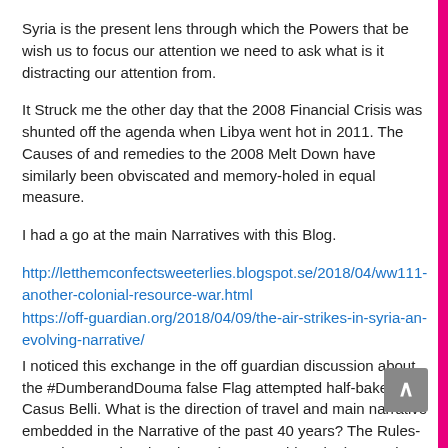Syria is the present lens through which the Powers that be wish us to focus our attention we need to ask what is it distracting our attention from.
It Struck me the other day that the 2008 Financial Crisis was shunted off the agenda when Libya went hot in 2011. The Causes of and remedies to the 2008 Melt Down have similarly been obviscated and memory-holed in equal measure.
I had a go at the main Narratives with this Blog.
http://letthemconfectsweeterlies.blogspot.se/2018/04/ww111-another-colonial-resource-war.html
https://off-guardian.org/2018/04/09/the-air-strikes-in-syria-an-evolving-narrative/
I noticed this exchange in the off guardian discussion about the #DumberandDouma false Flag attempted half-baked Casus Belli. What is the direction of travel and main narrative embedded in the Narrative of the past 40 years? The Rules-Based International Order or ( New World Order ) Narratives.
1. Globalisation and Urbanisation.